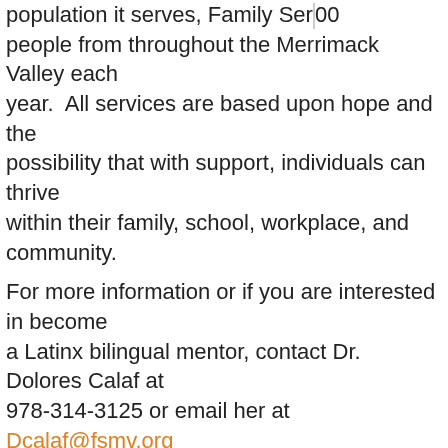population it serves, Family Services 00 people from throughout the Merrimack Valley each year. All services are based upon hope and the possibility that with support, individuals can thrive within their family, school, workplace, and community.
For more information or if you are interested in become a Latinx bilingual mentor, contact Dr. Dolores Calaf at 978-314-3125 or email her at Dcalaf@fsmv.org
Stand & Deliver – Delivers Quality Content
Posted in Uncategorized on January 15th, 2021 with No Comments
The most impactful piece of our Stand & Deliver program is the weekly one-on-one mentoring students receive from the mentors who work at our corporate